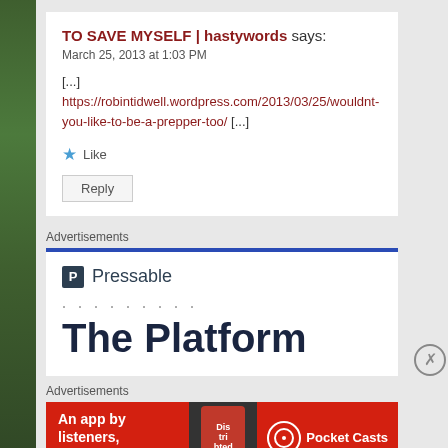TO SAVE MYSELF | hastywords says:
March 25, 2013 at 1:03 PM
[...] https://robintidwell.wordpress.com/2013/03/25/wouldnt-you-like-to-be-a-prepper-too/ [...]
Like
Reply
Advertisements
[Figure (screenshot): Pressable advertisement banner with logo and text 'The Platform']
Advertisements
[Figure (screenshot): Pocket Casts advertisement: 'An app by listeners, for listeners.']